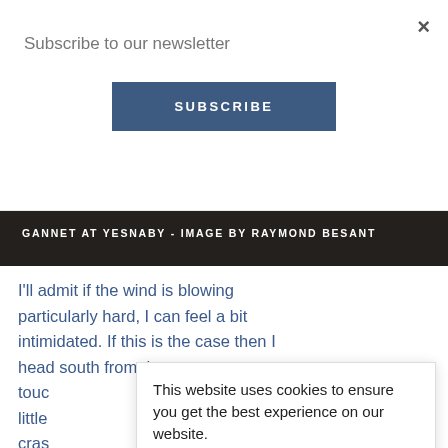Subscribe to our newsletter
SUBSCRIBE
GANNET AT YESNABY - IMAGE BY RAYMOND BESANT
I'll admit if the wind is blowing particularly hard, I can feel a bit intimidated. If this is the case then I head south from the
toud
little
cras
grey
cond
goo
Kee
past.
This website uses cookies to ensure you get the best experience on our website.
Learn more
Got it!